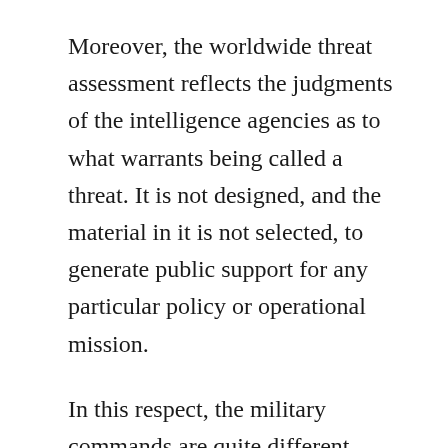Moreover, the worldwide threat assessment reflects the judgments of the intelligence agencies as to what warrants being called a threat. It is not designed, and the material in it is not selected, to generate public support for any particular policy or operational mission.
In this respect, the military commands are quite different from intelligence agencies. The military's mission is about executing policies that are inherently about confrontation more than cooperation. The intelligence community's mission is instead about providing the most objective and accurate possible information as an input to the making of policy.